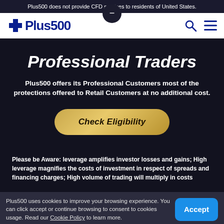Plus500 does not provide CFD services to residents of United States.
[Figure (logo): Plus500 logo with blue plus sign and bold blue text]
Professional Traders
Plus500 offers its Professional Customers most of the protections offered to Retail Customers at no additional cost.
[Figure (other): Check Eligibility button with gold gradient rounded rectangle]
Please be Aware: leverage amplifies investor losses and gains; High leverage magnifies the costs of investment in respect of spreads and financing charges; High volume of trading will multiply in costs
Plus500 uses cookies to improve your browsing experience. You can click accept or continue browsing to consent to cookies usage. Read our Cookie Policy to learn more.